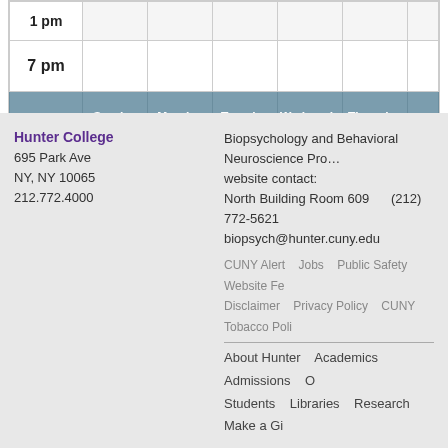| Hour | Sunday Dec 1 | Monday Dec 2 | Tuesday Dec 3 | Wednesday Dec 4 | Thursday Dec 5 |
| --- | --- | --- | --- | --- | --- |
| 1 pm |  |  |  |  |  |
| 7 pm |  |  |  |  |  |
| Hour | Sunday Dec 1 | Monday Dec 2 | Tuesday Dec 3 | Wednesday Dec 4 | Thursday Dec 5 |
<< previous week    December 1, 2013 - December 7, 2013
Hunter College
695 Park Ave
NY, NY 10065
212.772.4000
Biopsychology and Behavioral Neuroscience Program website contact:
North Building Room 609     (212) 772-5621
biopsych@hunter.cuny.edu
CUNY Alert   Jobs   Public Safety   Website Fe...
Disclaimer   Privacy Policy   CUNY Tobacco Pol...
About Hunter   Academics   Admissions   O...
Students   Libraries   Research   Make a Gi...